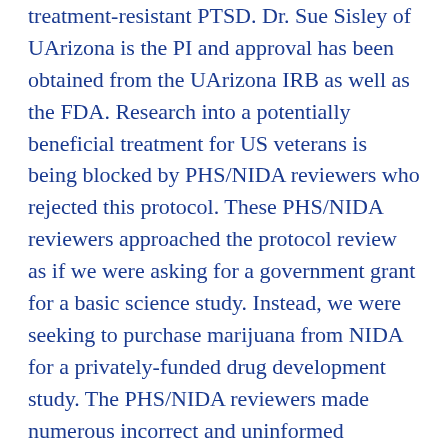treatment-resistant PTSD. Dr. Sue Sisley of UArizona is the PI and approval has been obtained from the UArizona IRB as well as the FDA. Research into a potentially beneficial treatment for US veterans is being blocked by PHS/NIDA reviewers who rejected this protocol. These PHS/NIDA reviewers approached the protocol review as if we were asking for a government grant for a basic science study. Instead, we were seeking to purchase marijuana from NIDA for a privately-funded drug development study. The PHS/NIDA reviewers made numerous incorrect and uninformed comments and clearly didn't understand drug development research. One reviewer objected to our outcome measures when we are using the FDA-required measure of PTSD symptoms, the CAPS. If you or any readers want to review our protocol along with